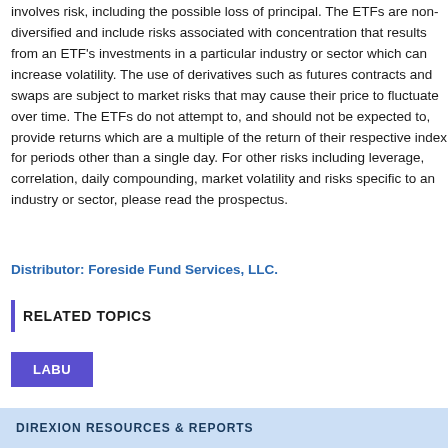involves risk, including the possible loss of principal. The ETFs are non-diversified and include risks associated with concentration that results from an ETF's investments in a particular industry or sector which can increase volatility. The use of derivatives such as futures contracts and swaps are subject to market risks that may cause their price to fluctuate over time. The ETFs do not attempt to, and should not be expected to, provide returns which are a multiple of the return of their respective index for periods other than a single day. For other risks including leverage, correlation, daily compounding, market volatility and risks specific to an industry or sector, please read the prospectus.
Distributor: Foreside Fund Services, LLC.
RELATED TOPICS
LABU
DIREXION RESOURCES & REPORTS